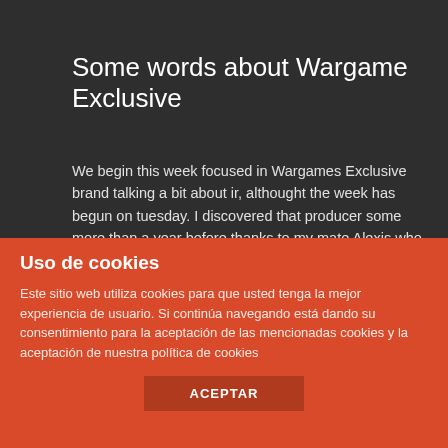Some words about Wargame Exclusive
We begin this week focused in Wargames Exclusive brand talking a bit about ir, althought the week has begun on tuesday. I discovered that producer some more than a year before thanks to my mate Alexis who, for a client army,he painted by comission for some time figures from this brand, When we began that venture [...]
August 29th, 2017 | Brands, Collaborations, News
Read More >
Uso de cookies
Este sitio web utiliza cookies para que usted tenga la mejor experiencia de usuario. Si continúa navegando está dando su consentimiento para la aceptación de las mencionadas cookies y la aceptación de nuestra política de cookies
ACEPTAR